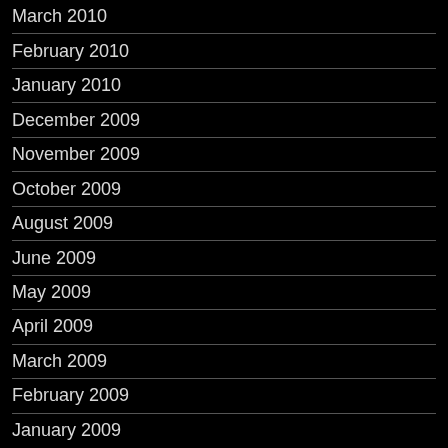March 2010
February 2010
January 2010
December 2009
November 2009
October 2009
August 2009
June 2009
May 2009
April 2009
March 2009
February 2009
January 2009